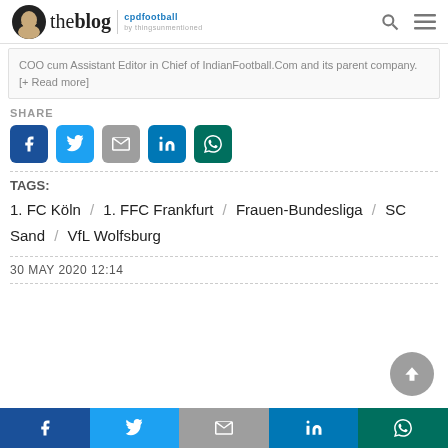theblog | cpdfootball
COO cum Assistant Editor in Chief of IndianFootball.Com and its parent company. [+ Read more]
SHARE
[Figure (other): Social share buttons: Facebook, Twitter, Gmail, LinkedIn, WhatsApp]
TAGS:
1. FC Köln / 1. FFC Frankfurt / Frauen-Bundesliga / SC Sand / VfL Wolfsburg
30 MAY 2020 12:14
[Figure (other): Bottom social share bar: Facebook, Twitter, Gmail, LinkedIn, WhatsApp]